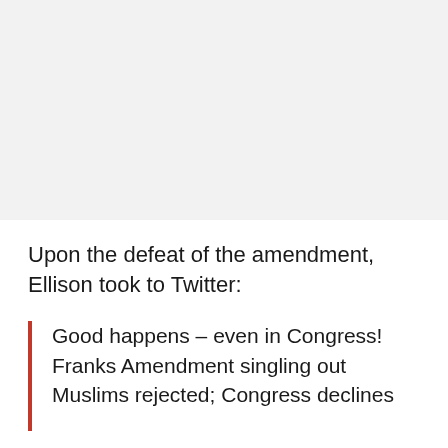[Figure (photo): Image placeholder area at top of page, light gray background]
Upon the defeat of the amendment, Ellison took to Twitter:
Good happens – even in Congress! Franks Amendment singling out Muslims rejected; Congress declines